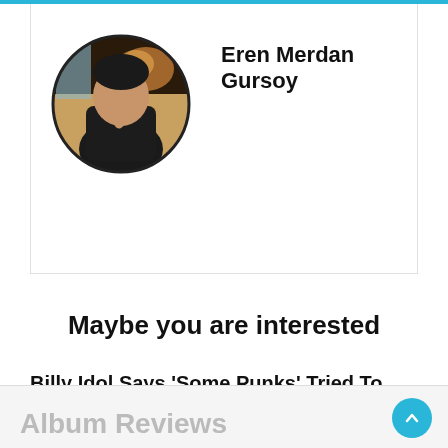[Figure (photo): Circular profile photo of Eren Merdan Gursoy, a young man in a dark shirt in a warmly lit room, pointing a finger.]
Eren Merdan Gursoy
Maybe you are interested
Billy Idol Says ‘Some Punks’ Tried To Break Into His Live Show
By Melisa Karakas · 3 mins read
Album Reviews